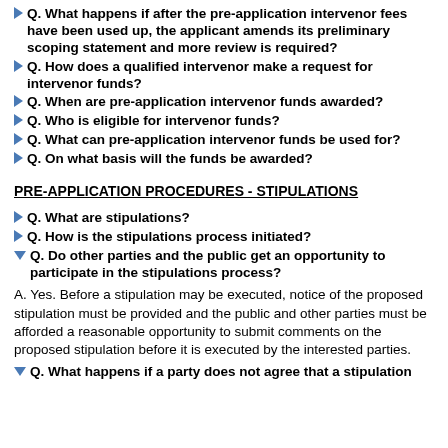Q. What happens if after the pre-application intervenor fees have been used up, the applicant amends its preliminary scoping statement and more review is required?
Q. How does a qualified intervenor make a request for intervenor funds?
Q. When are pre-application intervenor funds awarded?
Q. Who is eligible for intervenor funds?
Q. What can pre-application intervenor funds be used for?
Q. On what basis will the funds be awarded?
PRE-APPLICATION PROCEDURES - STIPULATIONS
Q. What are stipulations?
Q. How is the stipulations process initiated?
Q. Do other parties and the public get an opportunity to participate in the stipulations process?
A. Yes. Before a stipulation may be executed, notice of the proposed stipulation must be provided and the public and other parties must be afforded a reasonable opportunity to submit comments on the proposed stipulation before it is executed by the interested parties.
Q. What happens if a party does not agree that a stipulation